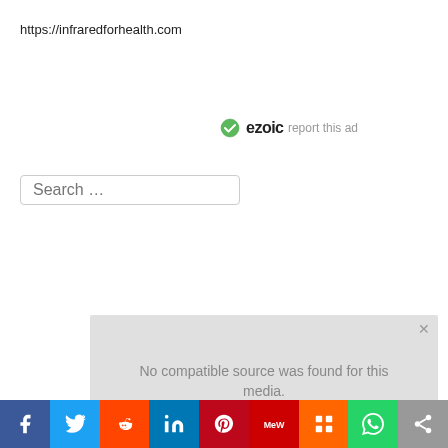https://infraredforhealth.com
[Figure (logo): Ezoic badge with green checkmark circle icon and bold 'ezoic' text]
report this ad
Search ...
[Figure (screenshot): Video player area with gray background showing 'No compatible source was found for this media.' message]
[Figure (infographic): Social media sharing bar with icons for Facebook, Twitter, Reddit, LinkedIn, Pinterest, MeWe, Mix, WhatsApp, and Share]